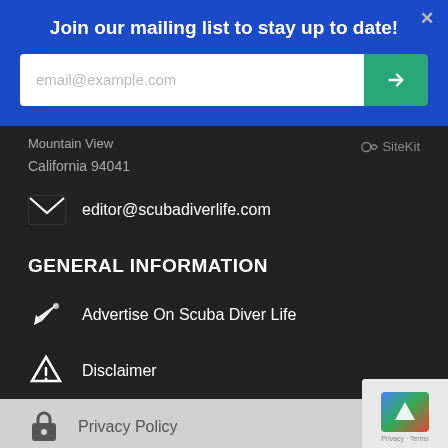Join our mailing list to stay up to date!
email@example.com
Mountain View
California 94041
SiteKit
editor@scubadiverlife.com
GENERAL INFORMATION
Advertise On Scuba Diver Life
Disclaimer
Privacy Policy
Terms Of Use